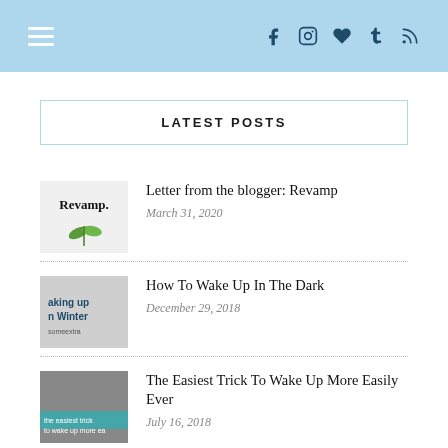Navigation bar with hamburger menu and social icons: f, instagram, heart, t, rss
LATEST POSTS
[Figure (photo): Thumbnail image with text 'Revamp.' and green plant leaves]
Letter from the blogger: Revamp
March 31, 2020
[Figure (photo): Thumbnail image with text 'aking up n Winter' on grey textured background]
How To Wake Up In The Dark
December 29, 2018
[Figure (photo): Thumbnail image with teal text overlay about waking up more easily]
The Easiest Trick To Wake Up More Easily Ever
July 16, 2018